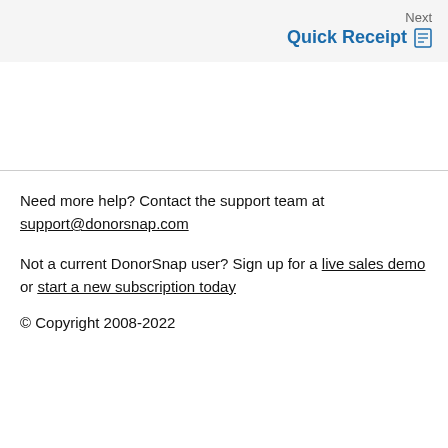Next
Quick Receipt
Need more help? Contact the support team at support@donorsnap.com
Not a current DonorSnap user? Sign up for a live sales demo or start a new subscription today
© Copyright 2008-2022